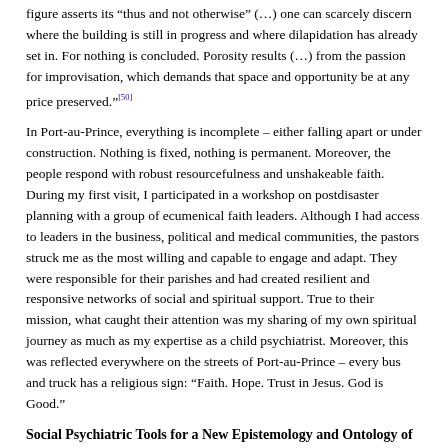figure asserts its “thus and not otherwise” (…) one can scarcely discern where the building is still in progress and where dilapidation has already set in. For nothing is concluded. Porosity results (…) from the passion for improvisation, which demands that space and opportunity be at any price preserved.”[50]
In Port-au-Prince, everything is incomplete – either falling apart or under construction. Nothing is fixed, nothing is permanent. Moreover, the people respond with robust resourcefulness and unshakeable faith. During my first visit, I participated in a workshop on postdisaster planning with a group of ecumenical faith leaders. Although I had access to leaders in the business, political and medical communities, the pastors struck me as the most willing and capable to engage and adapt. They were responsible for their parishes and had created resilient and responsive networks of social and spiritual support. True to their mission, what caught their attention was my sharing of my own spiritual journey as much as my expertise as a child psychiatrist. Moreover, this was reflected everywhere on the streets of Port-au-Prince – every bus and truck has a religious sign: “Faith. Hope. Trust in Jesus. God is Good.”
Social Psychiatric Tools for a New Epistemology and Ontology of the Global South